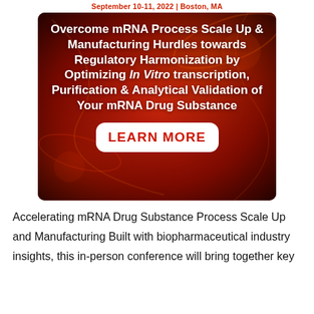September 10-11, 2022 | Boston, MA
[Figure (illustration): Advertisement banner with dark red/orange background showing mRNA molecular imagery. White bold text reads: 'Overcome mRNA Process Scale Up & Manufacturing Hurdles towards Regulatory Harmonization by Optimizing In Vitro transcription, Purification & Analytical Validation of Your mRNA Drug Substance'. A white rounded button with red text reads 'LEARN MORE'.]
Accelerating mRNA Drug Substance Process Scale Up and Manufacturing Built with biopharmaceutical industry insights, this in-person conference will bring together key